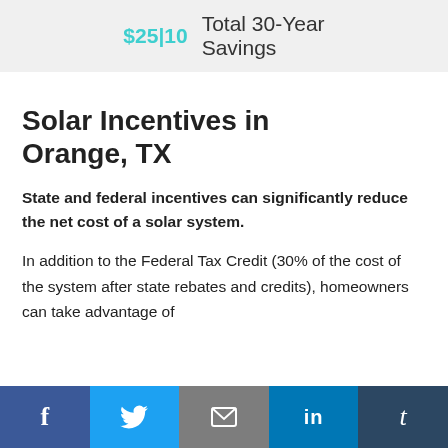$25,410 Total 30-Year Savings
Solar Incentives in Orange, TX
State and federal incentives can significantly reduce the net cost of a solar system.
In addition to the Federal Tax Credit (30% of the cost of the system after state rebates and credits), homeowners can take advantage of
f  [Twitter]  [Email]  in  t